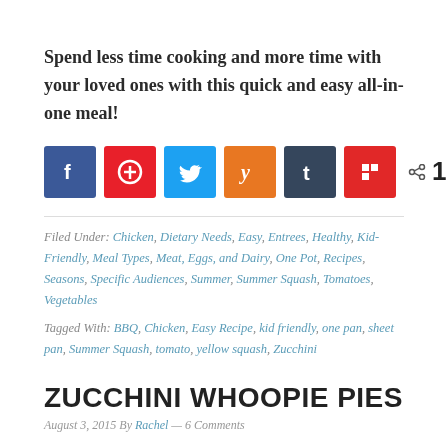Spend less time cooking and more time with your loved ones with this quick and easy all-in-one meal!
[Figure (infographic): Social sharing buttons: Facebook (blue), Pinterest (red), Twitter (light blue), Yummly (orange), Tumblr (dark blue), Flipboard (red), share icon with 1 SHARES count]
Filed Under: Chicken, Dietary Needs, Easy, Entrees, Healthy, Kid-Friendly, Meal Types, Meat, Eggs, and Dairy, One Pot, Recipes, Seasons, Specific Audiences, Summer, Summer Squash, Tomatoes, Vegetables
Tagged With: BBQ, Chicken, Easy Recipe, kid friendly, one pan, sheet pan, Summer Squash, tomato, yellow squash, Zucchini
ZUCCHINI WHOOPIE PIES
August 3, 2015 By Rachel — 6 Comments